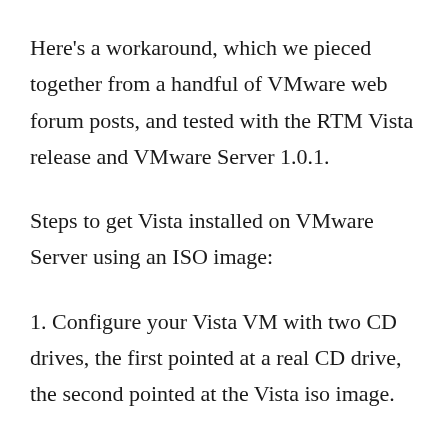Here's a workaround, which we pieced together from a handful of VMware web forum posts, and tested with the RTM Vista release and VMware Server 1.0.1.
Steps to get Vista installed on VMware Server using an ISO image:
1. Configure your Vista VM with two CD drives, the first pointed at a real CD drive, the second pointed at the Vista iso image.